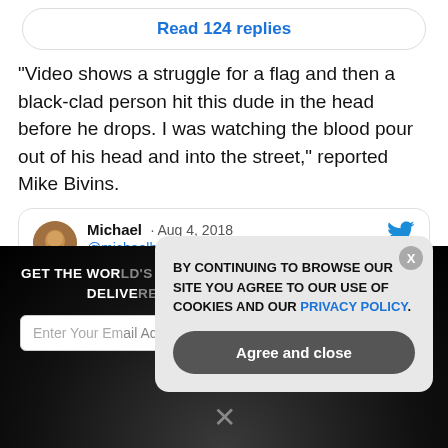Read 124 replies
“Video shows a struggle for a flag and then a black-clad person hit this dude in the head before he drops. I was watching the blood pour out of his head and into the street,” reported Mike Bivins.
[Figure (screenshot): Tweet card showing Michael @michaelbivins44 · Aug 4, 2018 with Follow link and Twitter bird icon]
GET THE WORLD'S BEST NATURAL HEALTH NEWSLETTER DELIVERED STRAIGHT TO YOUR INBOX
Enter Your Email Address
SUBSCRIBE
BY CONTINUING TO BROWSE OUR SITE YOU AGREE TO OUR USE OF COOKIES AND OUR PRIVACY POLICY.
Agree and close